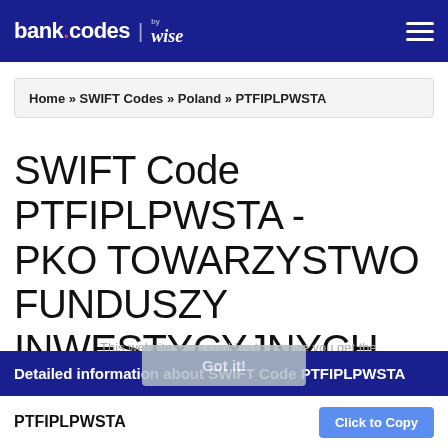bank.codes | by wise
Home » SWIFT Codes » Poland » PTFIPLPWSTA
SWIFT Code PTFIPLPWSTA - PKO TOWARZYSTWO FUNDUSZY INWESTYCYJNYCH SA
Detailed information about SWIFT Code PTFIPLPWSTA
PTFIPLPWSTA  Click to Copy